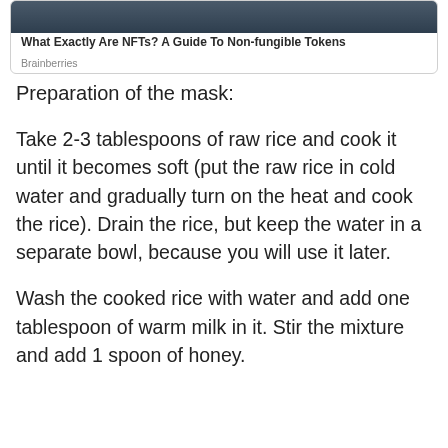[Figure (screenshot): Advertisement card with a cropped photo of a person at the top, bold title 'What Exactly Are NFTs? A Guide To Non-fungible Tokens', and source label 'Brainberries']
Preparation of the mask:
Take 2-3 tablespoons of raw rice and cook it until it becomes soft (put the raw rice in cold water and gradually turn on the heat and cook the rice). Drain the rice, but keep the water in a separate bowl, because you will use it later.
Wash the cooked rice with water and add one tablespoon of warm milk in it. Stir the mixture and add 1 spoon of honey.